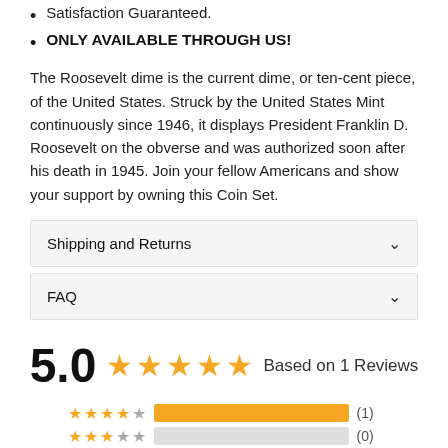Satisfaction Guaranteed.
ONLY AVAILABLE THROUGH US!
The Roosevelt dime is the current dime, or ten-cent piece, of the United States. Struck by the United States Mint continuously since 1946, it displays President Franklin D. Roosevelt on the obverse and was authorized soon after his death in 1945. Join your fellow Americans and show your support by owning this Coin Set.
Shipping and Returns
FAQ
5.0  ★★★★★  Based on 1 Reviews
5 stars: (1), 4 stars: (0)